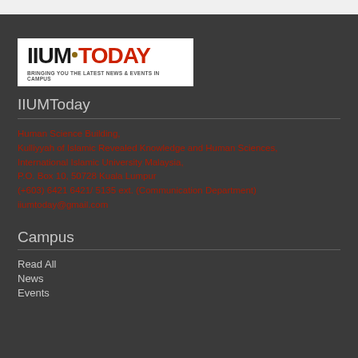[Figure (logo): IIUM Today logo — white background box with bold black text IIUM and red text TODAY, small gold circle dot between them, tagline: BRINGING YOU THE LATEST NEWS & EVENTS IN CAMPUS]
IIUMToday
Human Science Building,
Kulliyyah of Islamic Revealed Knowledge and Human Sciences,
International Islamic University Malaysia,
P.O. Box 10, 50728 Kuala Lumpur
(+603) 6421 6421/ 5135 ext. (Communication Department)
iiumtoday@gmail.com
Campus
Read All
News
Events